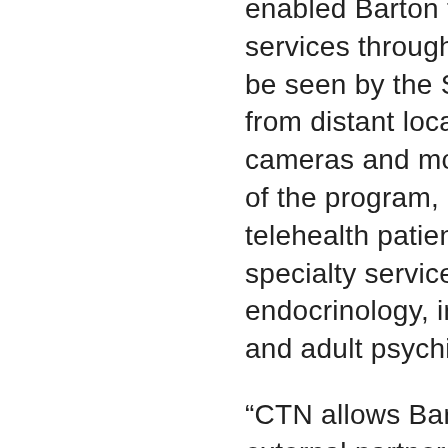enabled Barton to expand specialty care services through telehealth. Barton patients can be seen by the State's best clinical specialists from distant locations using high definition cameras and monitors. Since the implementation of the program, Barton has averaged 75 telehealth patient visits a month. Barton's clinical specialty services include: cardiology, endocrinology, infectious disease, dermatology, and adult psychiatry and neurology.
“CTN allows Barton to ensure its connections to external partners are fast, secure and of excellent quality. This is particularly important for specialists who are making a diagnosis and recommending treatment via